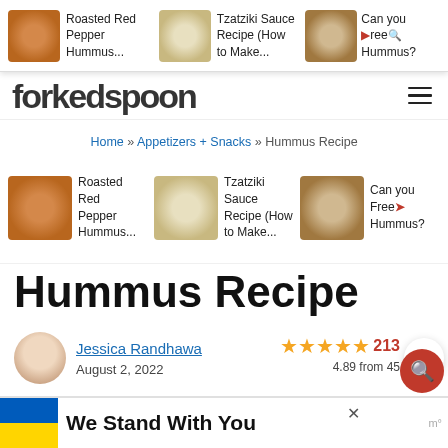Roasted Red Pepper Hummus... | Tzatziki Sauce Recipe (How to Make... | Can you Freeze Hummus?
[Figure (screenshot): Forkedspoon website logo/header with hamburger menu]
Home » Appetizers + Snacks » Hummus Recipe
[Figure (screenshot): Related articles row: Roasted Red Pepper Hummus, Tzatziki Sauce Recipe (How to Make...), Can you Freeze Hummus?]
Hummus Recipe
Jessica Randhawa
August 2, 2022
4.89 from 45  213
Last Updated August 2, 2022 | 9 Comments
This post may contain affiliate links. Read my disclosure policy.
[Figure (screenshot): Bottom advertisement banner: We Stand With You (Ukrainian flag colors)]